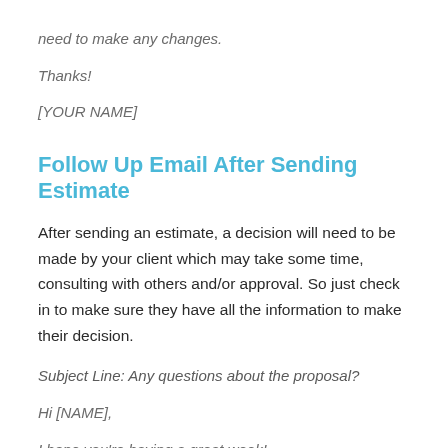need to make any changes.
Thanks!
[YOUR NAME]
Follow Up Email After Sending Estimate
After sending an estimate, a decision will need to be made by your client which may take some time, consulting with others and/or approval. So just check in to make sure they have all the information to make their decision.
Subject Line: Any questions about the proposal?
Hi [NAME],
I hope you're having a great week!